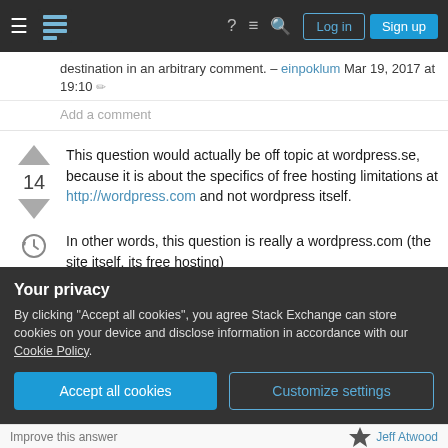Stack Exchange navigation bar with Log in and Sign up buttons
destination in an arbitrary comment. – einpoklum Mar 19, 2017 at 19:10
Add a comment
This question would actually be off topic at wordpress.se, because it is about the specifics of free hosting limitations at http://wordpress.com and not wordpress itself.
In other words, this question is really a wordpress.com (the site itself, its free hosting)
Your privacy
By clicking "Accept all cookies", you agree Stack Exchange can store cookies on your device and disclose information in accordance with our Cookie Policy.
Accept all cookies
Customize settings
Improve this answer   Jeff Atwood